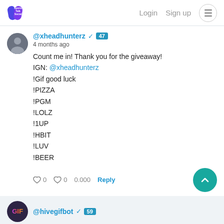Sports Talk Social — Login  Sign up
@xheadhunterz ✓ 47
4 months ago
Count me in! Thank you for the giveaway!
IGN: @xheadhunterz
!Gif good luck
!PIZZA
!PGM
!LOLZ
!1UP
!HBIT
!LUV
!BEER
♥ 0  ♥ 0  0.000  Reply
@hivegifbot ✓ 59